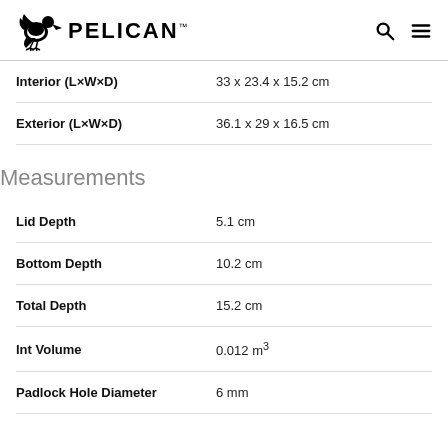PELICAN
| Specification | Value |
| --- | --- |
| Interior (L×W×D) | 33 x 23.4 x 15.2 cm |
| Exterior (L×W×D) | 36.1 x 29 x 16.5 cm |
Measurements
| Specification | Value |
| --- | --- |
| Lid Depth | 5.1 cm |
| Bottom Depth | 10.2 cm |
| Total Depth | 15.2 cm |
| Int Volume | 0.012 m³ |
| Padlock Hole Diameter | 6 mm |